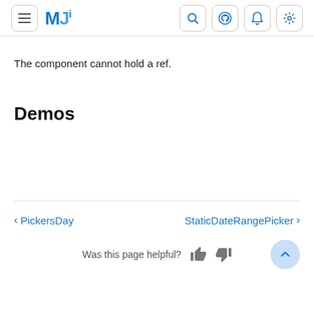MUI navigation bar with hamburger menu, logo, search, github, notification and settings icons
The component cannot hold a ref.
Demos
< PickersDay   StaticDateRangePicker >
Was this page helpful?